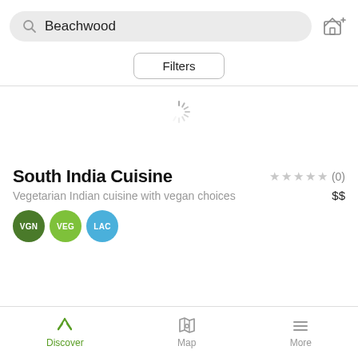[Figure (screenshot): Search bar with text 'Beachwood' and store/add icon on the right]
[Figure (other): Filters button with rounded border]
[Figure (other): Loading spinner icon]
South India Cuisine
Vegetarian Indian cuisine with vegan choices
$$
★★★★★ (0)
[Figure (other): Three circular badges: VGN (dark green), VEG (light green), LAC (blue)]
[Figure (other): Bottom navigation bar with Discover (active, green), Map, and More icons]